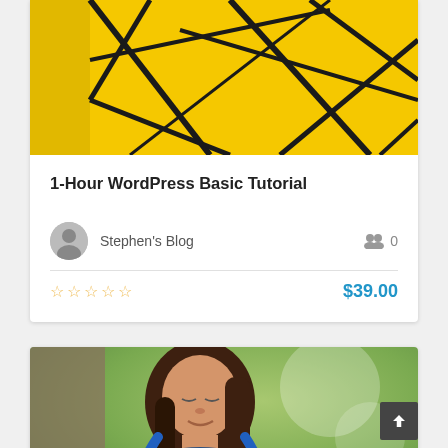[Figure (photo): Yellow background with dark geometric/abstract wire frame shapes, close-up photo]
1-Hour WordPress Basic Tutorial
Stephen's Blog
0
★★★★★ (empty stars rating)  $39.00
[Figure (photo): Young woman with long brown hair looking down, wearing blue headphones around neck, outdoors with green blurry background]